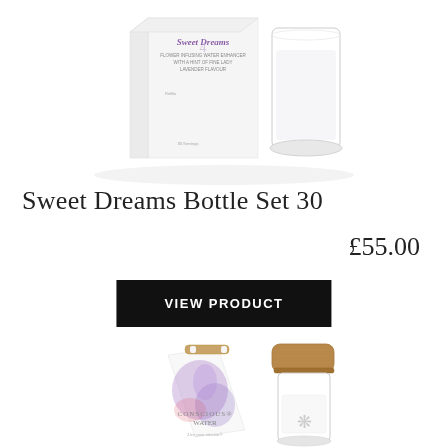[Figure (photo): Sweet Dreams product set: white box with 'Sweet Dreams' branding and a clear glass tumbler with white liquid, on white background]
Sweet Dreams Bottle Set 30
£55.00
VIEW PRODUCT
[Figure (photo): Conscious Water product set: decorative bag with floral watercolor design and wooden handle, alongside a glass bottle with bamboo lid, on white background]